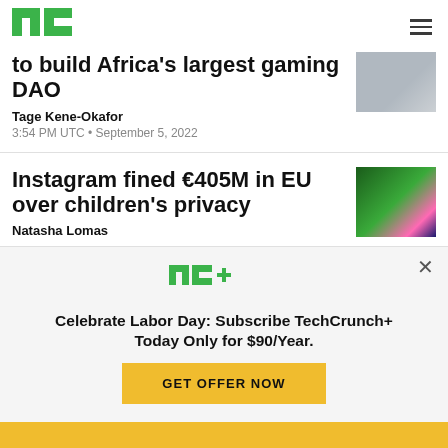TechCrunch
to build Africa's largest gaming DAO
Tage Kene-Okafor
3:54 PM UTC • September 5, 2022
Instagram fined €405M in EU over children's privacy
Natasha Lomas
Celebrate Labor Day: Subscribe TechCrunch+ Today Only for $90/Year.
GET OFFER NOW